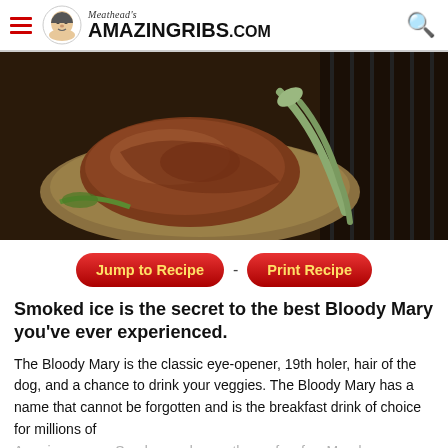Meathead's AmazingRibs.com
[Figure (photo): Close-up photo of smoked meat on a plate with tongs, dark moody lighting]
Jump to Recipe - Print Recipe
Smoked ice is the secret to the best Bloody Mary you've ever experienced.
The Bloody Mary is the classic eye-opener, 19th holer, hair of the dog, and a chance to drink your veggies. The Bloody Mary has a name that cannot be forgotten and is the breakfast drink of choice for millions of Americans on a Sunday, and more than a few few Mondays.